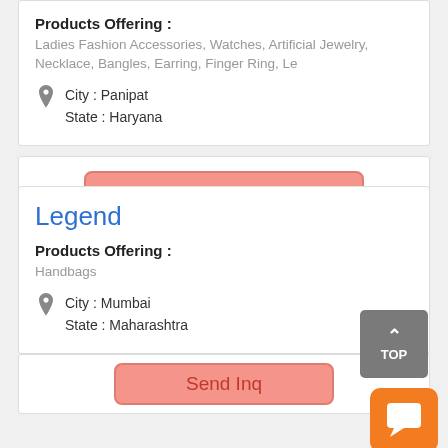Products Offering :
Ladies Fashion Accessories, Watches, Artificial Jewelry, Necklace, Bangles, Earring, Finger Ring, Le
City : Panipat
State : Haryana
Send Inquiry
Legend
Products Offering :
Handbags
City : Mumbai
State : Maharashtra